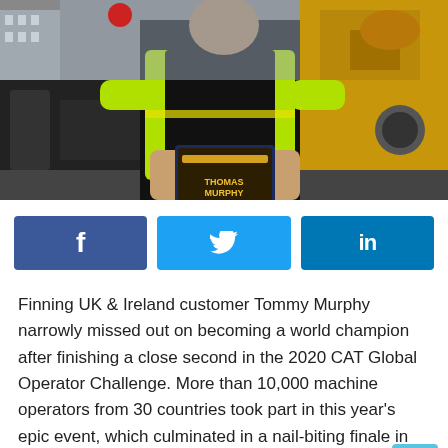[Figure (photo): A construction worker in a high-visibility yellow vest holding a CAT Global Operator Challenge award/plaque with the name Thomas Murphy. A yellow CAT machine is visible in the background.]
[Figure (infographic): Three social media sharing buttons in a row: Facebook (dark blue with f icon), Twitter (light blue with bird icon), LinkedIn (medium blue with in icon)]
Finning UK & Ireland customer Tommy Murphy narrowly missed out on becoming a world champion after finishing a close second in the 2020 CAT Global Operator Challenge. More than 10,000 machine operators from 30 countries took part in this year's epic event, which culminated in a nail-biting finale in Las Vegas on 10 March, 2020.